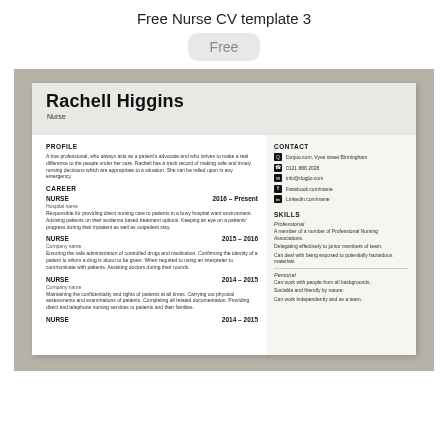Free Nurse CV template 3
Free
[Figure (screenshot): Preview of a nurse CV template for Rachell Higgins showing a two-column layout with profile, career sections on the left and contact/skills on the right.]